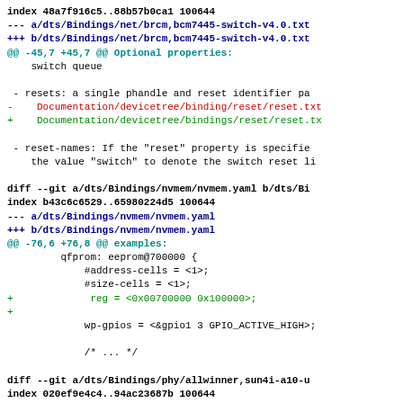Git diff output showing changes to dts/Bindings/net/brcm,bcm7445-switch-v4.0.txt, dts/Bindings/nvmem/nvmem.yaml, and dts/Bindings/phy/allwinner,sun4i-a10-usb-phy files